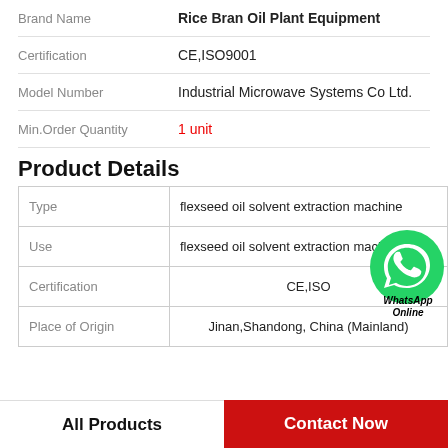| Field | Value |
| --- | --- |
| Brand Name | Rice Bran Oil Plant Equipment |
| Certification | CE,ISO9001 |
| Model Number | Industrial Microwave Systems Co Ltd. |
| Min.Order Quantity | 1 unit |
Product Details
| Field | Value |
| --- | --- |
| Type | flexseed oil solvent extraction machine |
| Use | flexseed oil solvent extraction machine |
| Certification | CE,ISO |
| Place of Origin | Jinan,Shandong, China (Mainland) |
[Figure (logo): WhatsApp Online green phone icon with text WhatsApp Online]
All Products   Contact Now